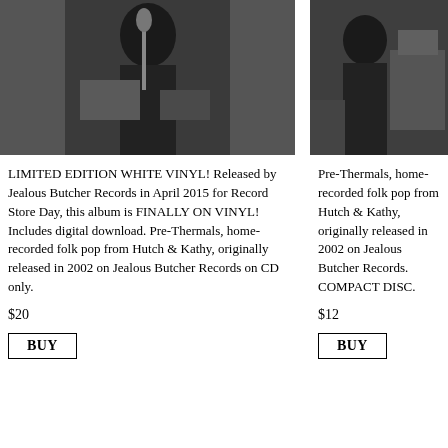[Figure (photo): Black and white photo of a person at a microphone in a recording or performance setting]
LIMITED EDITION WHITE VINYL! Released by Jealous Butcher Records in April 2015 for Record Store Day, this album is FINALLY ON VINYL!  Includes digital download. Pre-Thermals, home-recorded folk pop from Hutch & Kathy, originally released in 2002 on Jealous Butcher Records on CD only.
$20
BUY
[Figure (photo): Black and white photo of a person in a room setting]
Pre-Thermals, home-recorded folk pop from Hutch & Kathy, originally released in 2002 on Jealous Butcher Records. COMPACT DISC.
$12
BUY